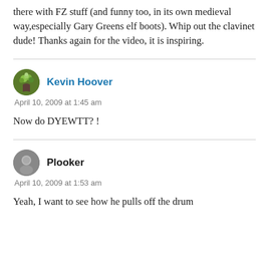there with FZ stuff (and funny too, in its own medieval way,especially Gary Greens elf boots). Whip out the clavinet dude! Thanks again for the video, it is inspiring.
Kevin Hoover
April 10, 2009 at 1:45 am
Now do DYEWTT? !
Plooker
April 10, 2009 at 1:53 am
Yeah, I want to see how he pulls off the drum